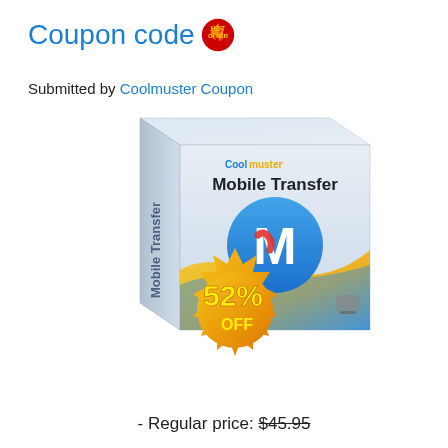Coupon code 🔥
Submitted by Coolmuster Coupon
[Figure (illustration): Coolmuster Mobile Transfer software box with a 52% OFF starburst badge. The box shows the product name 'Mobile Transfer' with a blue circular M logo and a yellow/blue wave design.]
- Regular price: $45.95